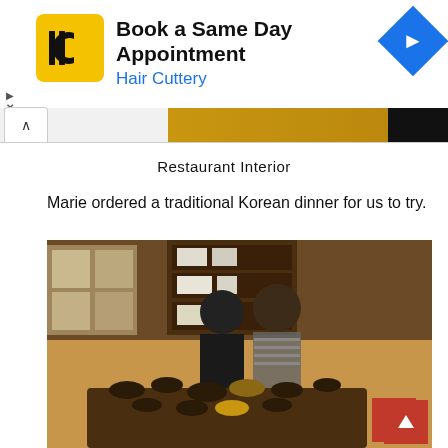[Figure (screenshot): Hair Cuttery advertisement banner: yellow square logo with HC initials, text 'Book a Same Day Appointment' and 'Hair Cuttery' in blue, blue diamond navigation icon on right]
Restaurant Interior
Marie ordered a traditional Korean dinner for us to try.
[Figure (photo): Two people sitting on the floor of a traditional Korean restaurant with many bowls of food on a low wooden table in front of them]